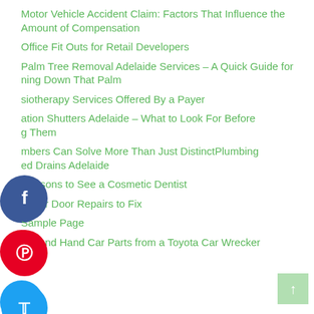Motor Vehicle Accident Claim: Factors That Influence the Amount of Compensation
Office Fit Outs for Retail Developers
Palm Tree Removal Adelaide Services – A Quick Guide for ning Down That Palm
siotherapy Services Offered By a Payer
ation Shutters Adelaide – What to Look For Before g Them
mbers Can Solve More Than Just DistinctPlumbing ed Drains Adelaide
Reasons to See a Cosmetic Dentist
Roller Door Repairs to Fix
Sample Page
Second Hand Car Parts from a Toyota Car Wrecker
[Figure (infographic): Social share buttons: Facebook (dark blue circle with f), Pinterest (red circle with p), Twitter (blue circle with bird icon), LinkedIn (dark blue circle with in)]